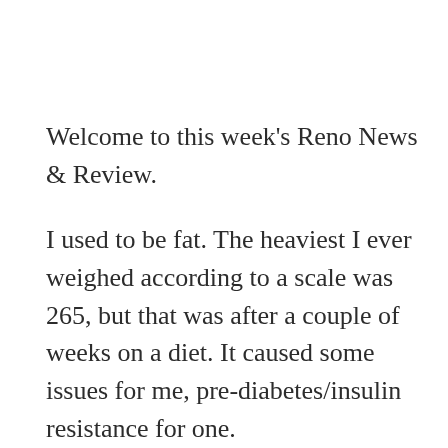Welcome to this week's Reno News & Review.
I used to be fat. The heaviest I ever weighed according to a scale was 265, but that was after a couple of weeks on a diet. It caused some issues for me, pre-diabetes/insulin resistance for one.
Anyway, to get skinny and stay skinny, you've got to get a little obsessed. After